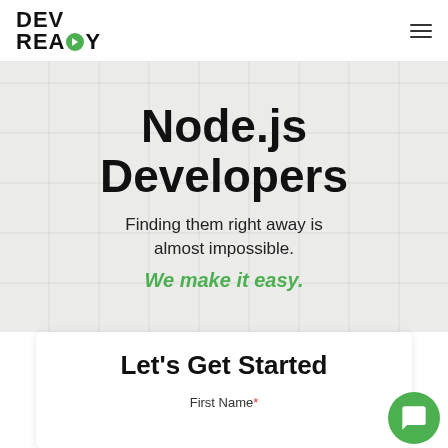DEV READY
Node.js Developers
Finding them right away is almost impossible.
We make it easy.
Let's Get Started
First Name*